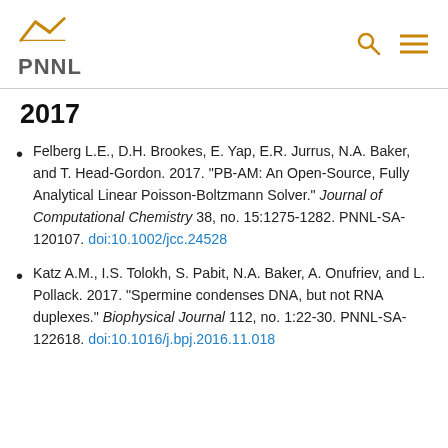PNNL
2017
Felberg L.E., D.H. Brookes, E. Yap, E.R. Jurrus, N.A. Baker, and T. Head-Gordon. 2017. "PB-AM: An Open-Source, Fully Analytical Linear Poisson-Boltzmann Solver." Journal of Computational Chemistry 38, no. 15:1275-1282. PNNL-SA-120107. doi:10.1002/jcc.24528
Katz A.M., I.S. Tolokh, S. Pabit, N.A. Baker, A. Onufriev, and L. Pollack. 2017. "Spermine condenses DNA, but not RNA duplexes." Biophysical Journal 112, no. 1:22-30. PNNL-SA-122618. doi:10.1016/j.bpj.2016.11.018